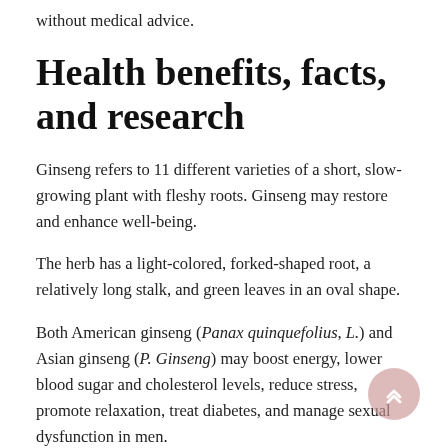without medical advice.
Health benefits, facts, and research
Ginseng refers to 11 different varieties of a short, slow-growing plant with fleshy roots. Ginseng may restore and enhance well-being.
The herb has a light-colored, forked-shaped root, a relatively long stalk, and green leaves in an oval shape.
Both American ginseng (Panax quinquefolius, L.) and Asian ginseng (P. Ginseng) may boost energy, lower blood sugar and cholesterol levels, reduce stress, promote relaxation, treat diabetes, and manage sexual dysfunction in men.